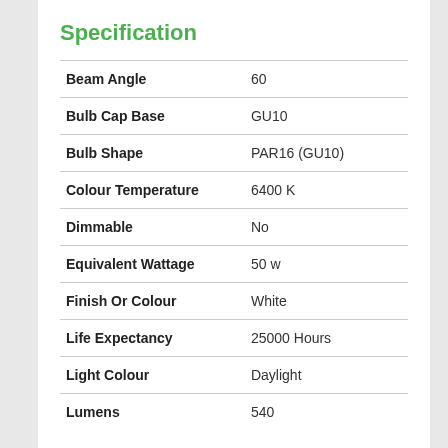Specification
| Attribute | Value |
| --- | --- |
| Beam Angle | 60 |
| Bulb Cap Base | GU10 |
| Bulb Shape | PAR16 (GU10) |
| Colour Temperature | 6400 K |
| Dimmable | No |
| Equivalent Wattage | 50 w |
| Finish Or Colour | White |
| Life Expectancy | 25000 Hours |
| Light Colour | Daylight |
| Lumens | 540 |